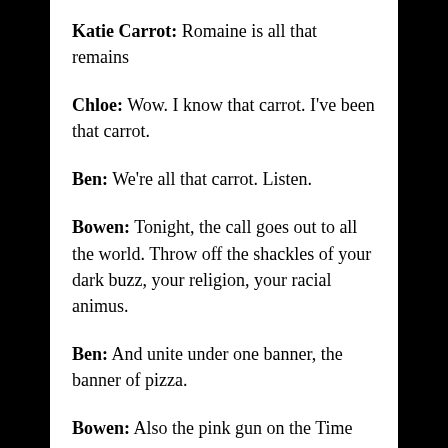Katie Carrot: Romaine is all that remains
Chloe: Wow. I know that carrot. I've been that carrot.
Ben: We're all that carrot. Listen.
Bowen: Tonight, the call goes out to all the world. Throw off the shackles of your dark buzz, your religion, your racial animus.
Ben: And unite under one banner, the banner of pizza.
Bowen: Also the pink gun on the Time